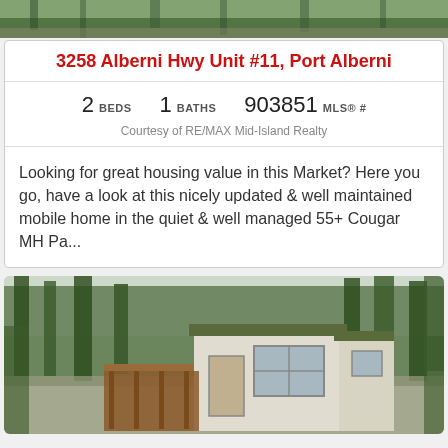[Figure (photo): Top portion of outdoor/nature photo, partially visible]
3258 Alberni Hwy Unit #11, Port Alberni
2 BEDS    1 BATHS    903851 MLS® #
Courtesy of RE/MAX Mid-Island Realty
Looking for great housing value in this Market? Here you go, have a look at this nicely updated & well maintained mobile home in the quiet & well managed 55+ Cougar MH Pa...
[Figure (photo): Photo of a mobile home with green roof trim, white siding, deck with wooden railings, surrounded by tall conifer trees]